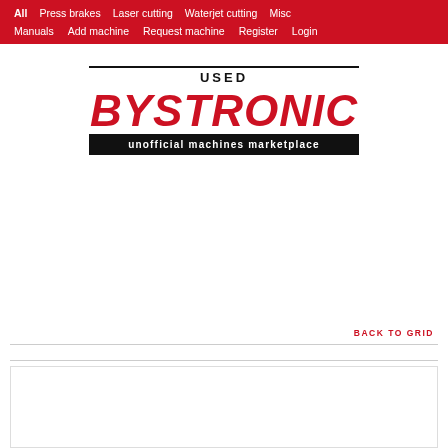All  Press brakes  Laser cutting  Waterjet cutting  Misc  Manuals  Add machine  Request machine  Register  Login
[Figure (logo): Used Bystronic unofficial machines marketplace logo — red BYSTRONIC text on white with black subtitle bar]
BACK TO GRID